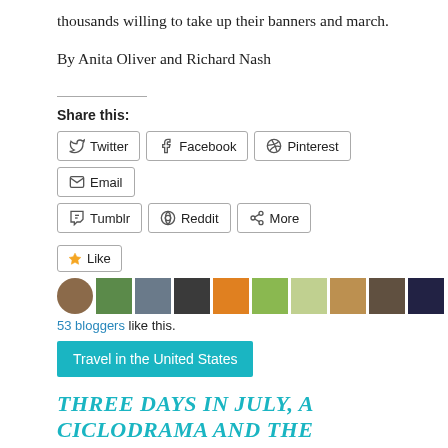thousands willing to take up their banners and march.
By Anita Oliver and Richard Nash
Share this:
Twitter  Facebook  Pinterest  Email  Tumblr  Reddit  More
[Figure (other): Like button and blogger avatar thumbnails; 53 bloggers like this.]
53 bloggers like this.
Travel in the United States
THREE DAYS IN JULY, A CICLODRAMA AND THE